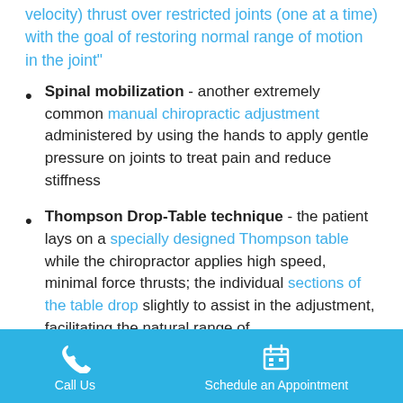velocity) thrust over restricted joints (one at a time) with the goal of restoring normal range of motion in the joint"
Spinal mobilization - another extremely common manual chiropractic adjustment administered by using the hands to apply gentle pressure on joints to treat pain and reduce stiffness
Thompson Drop-Table technique - the patient lays on a specially designed Thompson table while the chiropractor applies high speed, minimal force thrusts; the individual sections of the table drop slightly to assist in the adjustment, facilitating the natural range of
Call Us | Schedule an Appointment